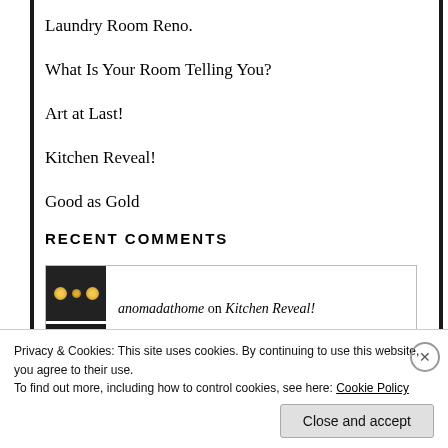Laundry Room Reno.
What Is Your Room Telling You?
Art at Last!
Kitchen Reveal!
Good as Gold
RECENT COMMENTS
anomadathome on Kitchen Reveal!
Privacy & Cookies: This site uses cookies. By continuing to use this website, you agree to their use.
To find out more, including how to control cookies, see here: Cookie Policy
Close and accept